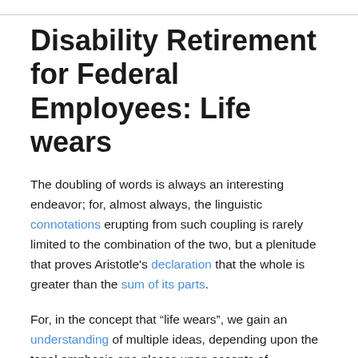Disability Retirement for Federal Employees: Life wears
The doubling of words is always an interesting endeavor; for, almost always, the linguistic connotations erupting from such coupling is rarely limited to the combination of the two, but a plenitude that proves Aristotle's declaration that the whole is greater than the sum of its parts.
For, in the concept that “life wears”, we gain an understanding of multiple ideas, depending upon the tonal emphasis one places upon accents of consonants, verbs or whether the first in the sequence, or the last: that, the turmoil and challenges of life wears upon the soul; that there are varying experiences that are presented in the